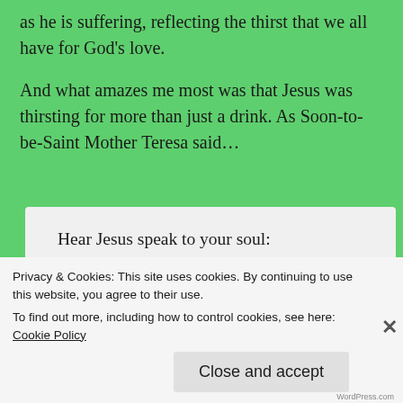as he is suffering, reflecting the thirst that we all have for God's love.
And what amazes me most was that Jesus was thirsting for more than just a drink. As Soon-to-be-Saint Mother Teresa said...
Hear Jesus speak to your soul: No matter how far you may wander, no matter how often you forget Me, no matter how many crosses you may bear in this life; there is one thing I want you to always
Privacy & Cookies: This site uses cookies. By continuing to use this website, you agree to their use.
To find out more, including how to control cookies, see here: Cookie Policy
Close and accept